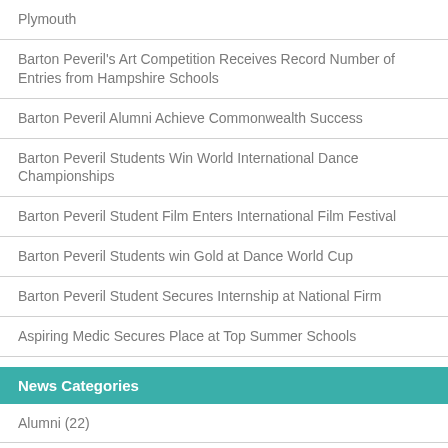Plymouth
Barton Peveril's Art Competition Receives Record Number of Entries from Hampshire Schools
Barton Peveril Alumni Achieve Commonwealth Success
Barton Peveril Students Win World International Dance Championships
Barton Peveril Student Film Enters International Film Festival
Barton Peveril Students win Gold at Dance World Cup
Barton Peveril Student Secures Internship at National Firm
Aspiring Medic Secures Place at Top Summer Schools
News Categories
Alumni (22)
Aspire (6)